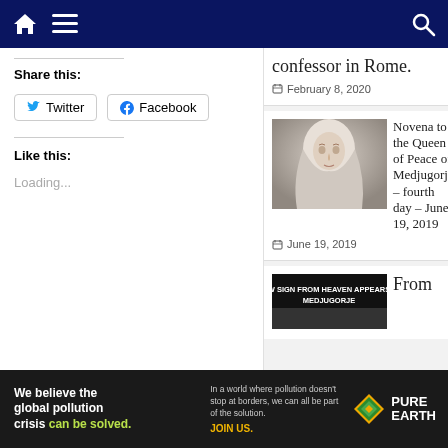Navigation bar with home, menu, and search icons
Share this:
Twitter  Facebook
Like this:
Loading...
confessor in Rome.
February 8, 2020
[Figure (photo): Statue of Mary, the Queen of Peace]
Novena to the Queen of Peace of Medjugorje – fourth day – June 19, 2019
June 19, 2019
[Figure (screenshot): Image with text: W SIGN FROM HEAVEN APPEARS MEDJUGORJE]
From
[Figure (infographic): Pure Earth advertisement: We believe the global pollution crisis can be solved. In a world where pollution doesn't stop at borders, we can all be part of the solution. JOIN US. Pure Earth logo.]